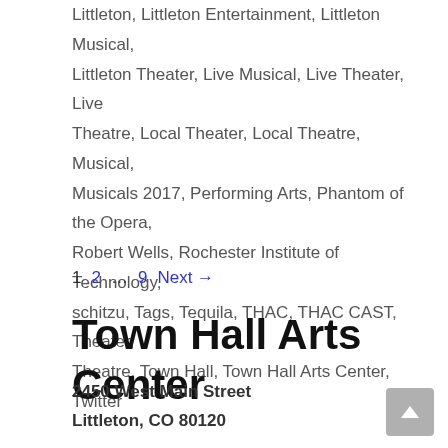Littleton, Littleton Entertainment, Littleton Musical, Littleton Theater, Live Musical, Live Theater, Live Theatre, Local Theater, Local Theatre, Musical, Musicals 2017, Performing Arts, Phantom of the Opera, Robert Wells, Rochester Institute of Technology, schitzu, Tags, Tequila, THAC, THAC CAST, Theater, Theatre, Town Hall, Town Hall Arts Center, Twitter
1  2  …  9  Next →
Town Hall Arts Center
2450 West Main Street
Littleton, CO 80120